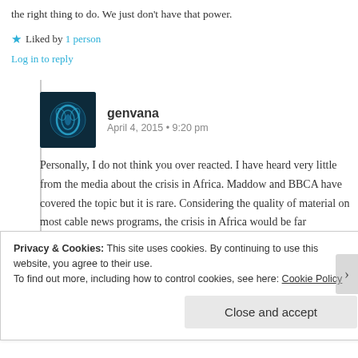the right thing to do. We just don't have that power.
★ Liked by 1 person
Log in to reply
genvana
April 4, 2015 • 9:20 pm
Personally, I do not think you over reacted. I have heard very little from the media about the crisis in Africa. Maddow and BBCA have covered the topic but it is rare. Considering the quality of material on most cable news programs, the crisis in Africa would be far
Privacy & Cookies: This site uses cookies. By continuing to use this website, you agree to their use.
To find out more, including how to control cookies, see here: Cookie Policy
Close and accept